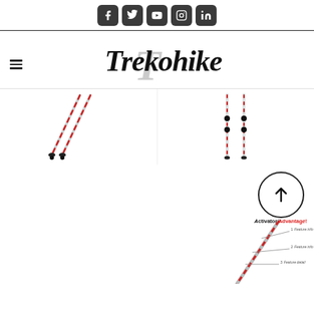Social media icons: Facebook, Twitter, YouTube, Instagram, LinkedIn
[Figure (logo): Trekohike brand logo with stylized italic text and large grey T in background]
[Figure (photo): Two trekking/hiking poles shown at an angle with red accents and black tips]
[Figure (photo): Two trekking/hiking poles shown upright, full length view]
[Figure (infographic): Activator Advantage product infographic with upward arrow badge, showing trekking pole features with numbered callouts]